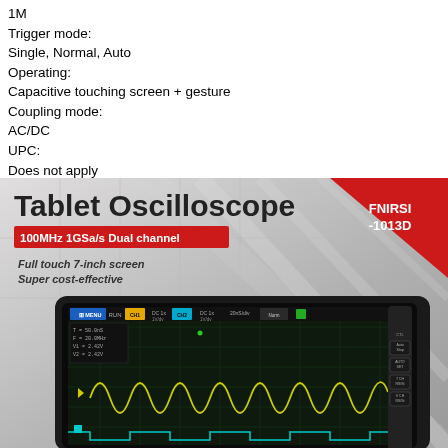1M
Trigger mode:
Single, Normal, Auto
Operating:
Capacitive touching screen + gesture
Coupling mode:
AC/DC
UPC:
Does not apply
[Figure (photo): Product advertisement image for FNIRSI-1013D Tablet Oscilloscope showing the device screen with waveforms. Text reads: Tablet Oscilloscope, 100MHz 1GSa/s Dual channel, Full touch 7-inch screen, Super cost-effective. The screen displays yellow sine waves and cyan square waves with measurement readouts.]